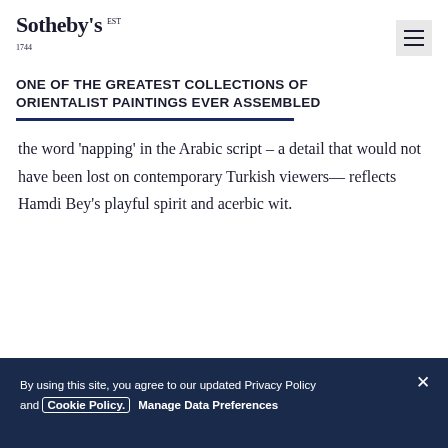Sotheby's EST 1744
ONE OF THE GREATEST COLLECTIONS OF ORIENTALIST PAINTINGS EVER ASSEMBLED
the word 'napping' in the Arabic script – a detail that would not have been lost on contemporary Turkish viewers— reflects Hamdi Bey's playful spirit and acerbic wit.
By using this site, you agree to our updated Privacy Policy and Cookie Policy. Manage Data Preferences